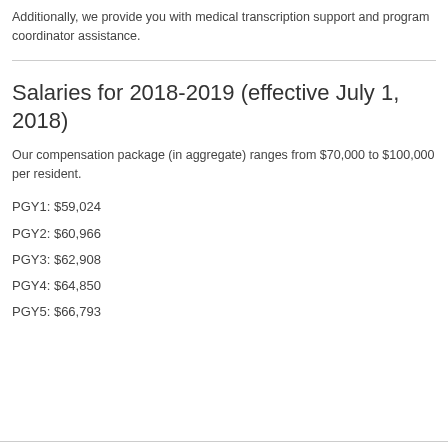Additionally, we provide you with medical transcription support and program coordinator assistance.
Salaries for 2018-2019 (effective July 1, 2018)
Our compensation package (in aggregate) ranges from $70,000 to $100,000 per resident.
PGY1: $59,024
PGY2: $60,966
PGY3: $62,908
PGY4: $64,850
PGY5: $66,793